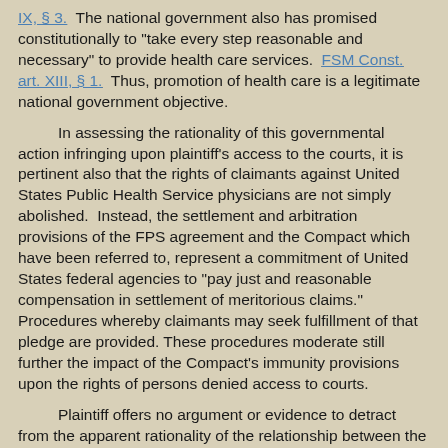IX, § 3.  The national government also has promised constitutionally to "take every step reasonable and necessary" to provide health care services. FSM Const. art. XIII, § 1.  Thus, promotion of health care is a legitimate national government objective.
In assessing the rationality of this governmental action infringing upon plaintiff's access to the courts, it is pertinent also that the rights of claimants against United States Public Health Service physicians are not simply abolished.  Instead, the settlement and arbitration provisions of the FPS agreement and the Compact which have been referred to, represent a commitment of United States federal agencies to "pay just and reasonable compensation in settlement of meritorious claims." Procedures whereby claimants may seek fulfillment of that pledge are provided. These procedures moderate still further the impact of the Compact's immunity provisions upon the rights of persons denied access to courts.
Plaintiff offers no argument or evidence to detract from the apparent rationality of the relationship between the immunity provisions and increased
[5 FSM Intrm. 105]